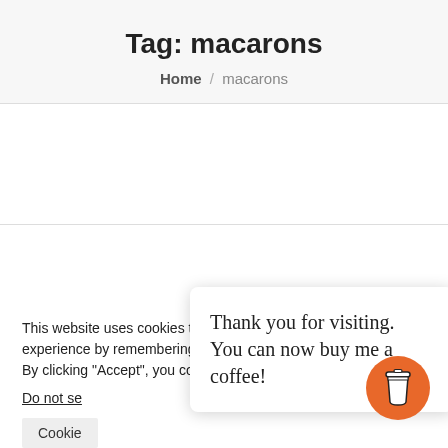Tag: macarons
Home / macarons
This website uses cookies to give you the most relevant experience by remembering your preferences and repeat visits. By clicking “Accept”, you consent to the use of ALL the cookies.
Do not se
Cookie
Thank you for visiting. You can now buy me a coffee!